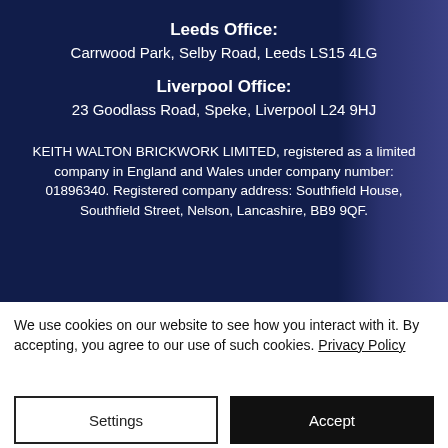Leeds Office:
Carrwood Park, Selby Road, Leeds LS15 4LG
Liverpool Office:
23 Goodlass Road, Speke, Liverpool L24 9HJ
KEITH WALTON BRICKWORK LIMITED, registered as a limited company in England and Wales under company number: 01896340. Registered company address: Southfield House, Southfield Street, Nelson, Lancashire, BB9 9QF.
We use cookies on our website to see how you interact with it. By accepting, you agree to our use of such cookies. Privacy Policy
Settings
Accept